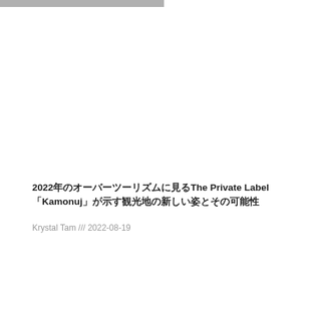2022年のオーバーツーリズムに見るThe Private Label「Kamonuj」が示す観光地の新しい姿とその可能性
Krystal Tam /// 2022-08-19